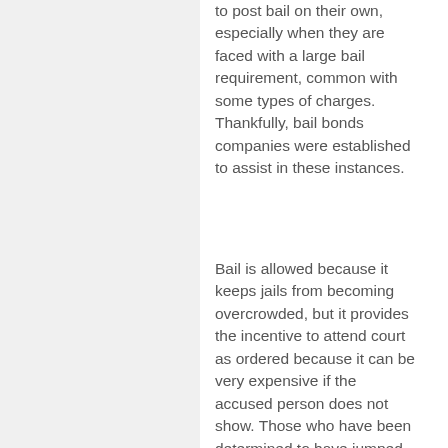to post bail on their own, especially when they are faced with a large bail requirement, common with some types of charges. Thankfully, bail bonds companies were established to assist in these instances.
Bail is allowed because it keeps jails from becoming overcrowded, but it provides the incentive to attend court as ordered because it can be very expensive if the accused person does not show. Those who have been determined to have jumped bail will have a warrant